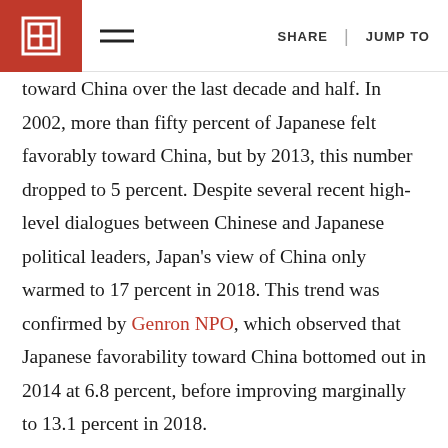SHARE | JUMP TO
toward China over the last decade and half. In 2002, more than fifty percent of Japanese felt favorably toward China, but by 2013, this number dropped to 5 percent. Despite several recent high-level dialogues between Chinese and Japanese political leaders, Japan's view of China only warmed to 17 percent in 2018. This trend was confirmed by Genron NPO, which observed that Japanese favorability toward China bottomed out in 2014 at 6.8 percent, before improving marginally to 13.1 percent in 2018.
This extreme variability in favorability is not unique to China. While Japan is overall the most respected